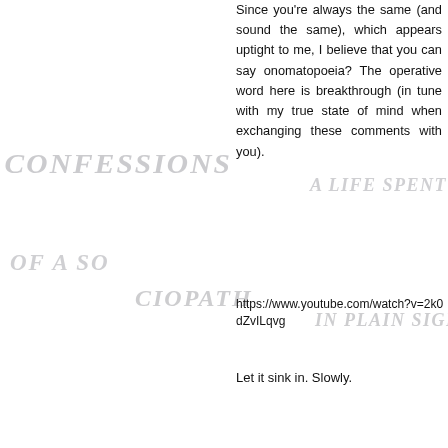Since you're always the same (and sound the same), which appears uptight to me, I believe that you can say onomatopoeia? The operative word here is breakthrough (in tune with my true state of mind when exchanging these comments with you).
https://www.youtube.com/watch?v=2k0dZvILqvg
Let it sink in. Slowly.
A April 12, 2015 at 2:53 PM
So a few days ago I was a revolting pornographer, and now *I'm* the one who's uptight. LOL. How fitting that you should post a clip of maniacal laughter. You're as crazy as a loon xD
Let it sink in. Slowly... while I twist it around inside you a little bit more, masochist.